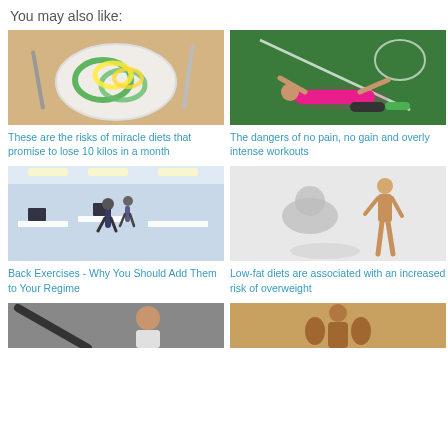You may also like:
[Figure (photo): Plate with measuring tapes (green and yellow) coiled on it, with fork and knife, suggesting diet/weight loss theme]
These are the risks of miracle diets that promise to lose 10 kilos in a month
[Figure (photo): Female athlete in pink top lying exhausted on green sports field]
The dangers of no pain, no gain and overly intense workouts
[Figure (photo): Business people walking in a modern open-plan office]
Back Exercises - Why You Should Add Them to Your Regime
[Figure (photo): Illustration showing a fat silhouette shadow and a slim wooden mannequin, representing weight/body comparison]
Low-fat diets are associated with an increased risk of overweight
[Figure (photo): Partial image of a person with dark object, bottom left]
[Figure (photo): Partial image of a muscular person, bottom right]